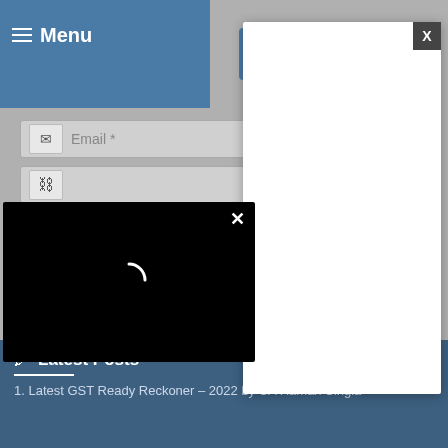Menu | TaxGuru - Complete Tax Solution
[Figure (screenshot): TaxGuru website logo with blue icon showing people silhouettes and 'TaxGuru' text and 'Complete Tax Solution' tagline]
[Figure (screenshot): Website form with Email field, link/chain icon field, and Comment textarea with resize handle. Two modal overlays visible: a white modal with X close button, and a black loading modal with spinner and X button. Submit comment button partially visible.]
Latest Posts
close
1. Latest GST Ready Reckoner – 2022 by CA Raman Singla